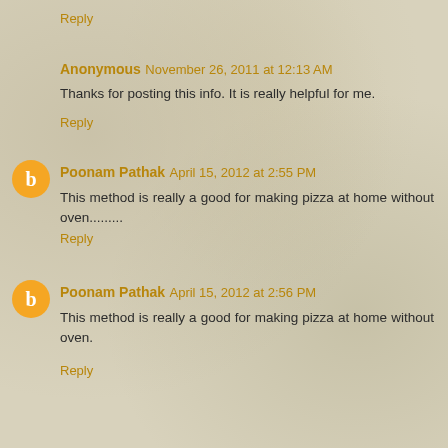Reply
Anonymous  November 26, 2011 at 12:13 AM
Thanks for posting this info. It is really helpful for me.
Reply
Poonam Pathak  April 15, 2012 at 2:55 PM
This method is really a good for making pizza at home without oven.........
Reply
Poonam Pathak  April 15, 2012 at 2:56 PM
This method is really a good for making pizza at home without oven.
Reply